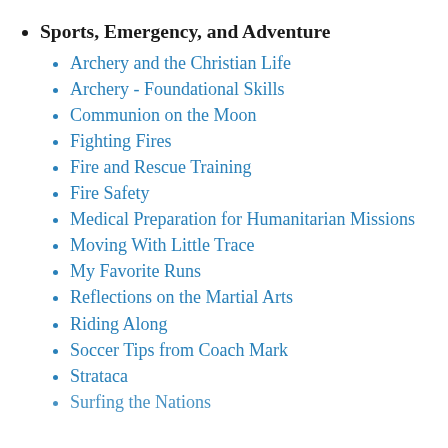Sports, Emergency, and Adventure
Archery and the Christian Life
Archery - Foundational Skills
Communion on the Moon
Fighting Fires
Fire and Rescue Training
Fire Safety
Medical Preparation for Humanitarian Missions
Moving With Little Trace
My Favorite Runs
Reflections on the Martial Arts
Riding Along
Soccer Tips from Coach Mark
Strataca
Surfing the Nations